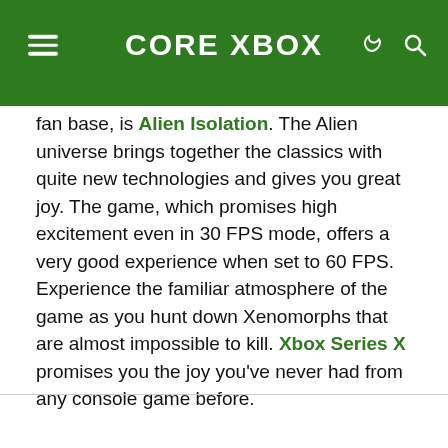CORE XBOX
fan base, is Alien Isolation. The Alien universe brings together the classics with quite new technologies and gives you great joy. The game, which promises high excitement even in 30 FPS mode, offers a very good experience when set to 60 FPS. Experience the familiar atmosphere of the game as you hunt down Xenomorphs that are almost impossible to kill. Xbox Series X promises you the joy you’ve never had from any console game before.